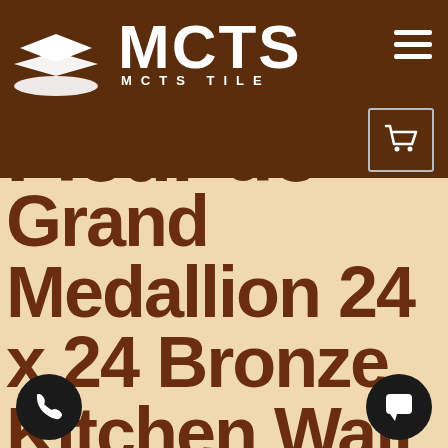MCTS MCTS TILE
Fleur de Grand Medallion 24 x 24 Bronze Kitchen Wall Medallion